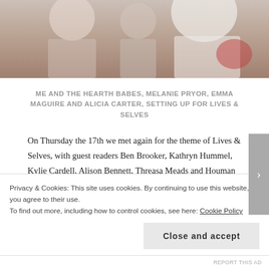[Figure (photo): A cropped photograph of people at what appears to be an event, showing partial figures against a light background]
ME AND THE HEARTH BABES, MELANIE PRYOR, EMMA MAGUIRE AND ALICIA CARTER, SETTING UP FOR LIVES & SELVES
On Thursday the 17th we met again for the theme of Lives & Selves, with guest readers Ben Brooker, Kathryn Hummel, Kylie Cardell, Alison Bennett, Threasa Meads and Houman Zandi-Zadeh. They spoke about digital lives and relationships, recovering from illness and trauma and the insights of our childhood diaries through fiction, memoir, poetry and essay. It was a beautiful night, and I was really
Privacy & Cookies: This site uses cookies. By continuing to use this website, you agree to their use.
To find out more, including how to control cookies, see here: Cookie Policy
Close and accept
REPORT THIS AD